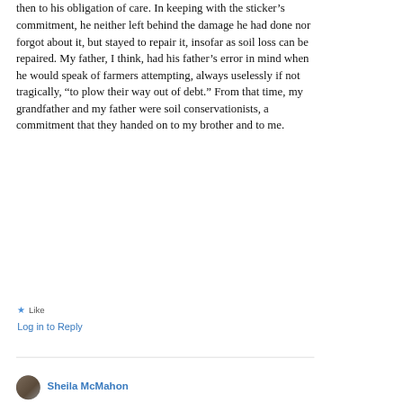then to his obligation of care. In keeping with the sticker's commitment, he neither left behind the damage he had done nor forgot about it, but stayed to repair it, insofar as soil loss can be repaired. My father, I think, had his father's error in mind when he would speak of farmers attempting, always uselessly if not tragically, “to plow their way out of debt.” From that time, my grandfather and my father were soil conservationists, a commitment that they handed on to my brother and to me.
★ Like
Log in to Reply
Sheila McMahon